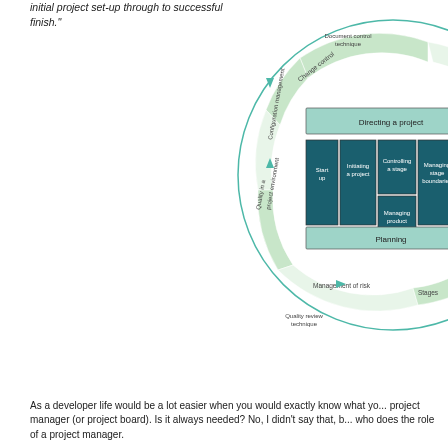initial project set-up through to successful finish."
[Figure (flowchart): PRINCE2 process model circular diagram showing nested rings with process boxes: Directing a project (outer bar), Start up, Initiating a project, Controlling a stage, Managing stage boundaries, Closing a project (inner boxes), Managing product delivery, Planning bar at bottom. Outer ring segments: Document control technique, Change control, Organisation, Product Planning, Configuration management, Quality in a project environment, Management of risk, Stages, Quality review technique, Change technique.]
As a developer life would be a lot easier when you would exactly know what you need as a project manager (or project board). Is it always needed? No, I didn't say that, but someone who does the role of a project manager.